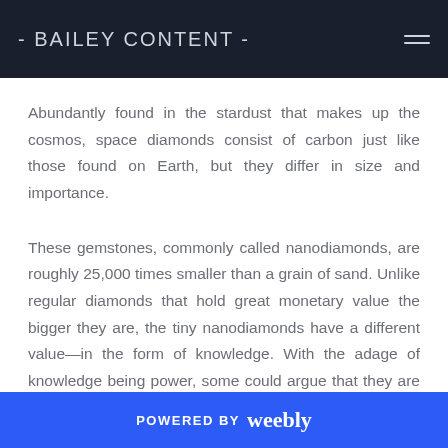- BAILEY CONTENT -
Abundantly found in the stardust that makes up the cosmos, space diamonds consist of carbon just like those found on Earth, but they differ in size and importance.
These gemstones, commonly called nanodiamonds, are roughly 25,000 times smaller than a grain of sand. Unlike regular diamonds that hold great monetary value the bigger they are, the tiny nanodiamonds have a different value—in the form of knowledge. With the adage of knowledge being power, some could argue that they are therefore worth much, much more by opening up new
POWERED BY weebly